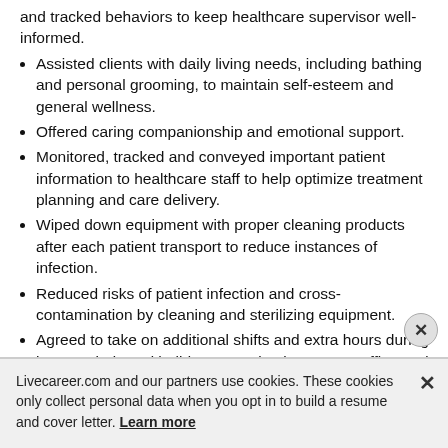and tracked behaviors to keep healthcare supervisor well-informed.
Assisted clients with daily living needs, including bathing and personal grooming, to maintain self-esteem and general wellness.
Offered caring companionship and emotional support.
Monitored, tracked and conveyed important patient information to healthcare staff to help optimize treatment planning and care delivery.
Wiped down equipment with proper cleaning products after each patient transport to reduce instances of infection.
Reduced risks of patient infection and cross-contamination by cleaning and sterilizing equipment.
Agreed to take on additional shifts and extra hours during busy periods and holidays to maintain proper staffing and floor coverage.
Provided safe mobility support to help patients move around personal and public spaces.
Livecareer.com and our partners use cookies. These cookies only collect personal data when you opt in to build a resume and cover letter. Learn more